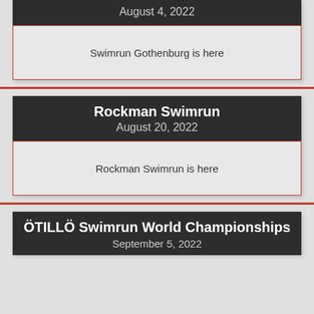August 4, 2022
Swimrun Gothenburg is here
Rockman Swimrun
August 20, 2022
Rockman Swimrun is here
ÖTILLÖ Swimrun World Championships
September 5, 2022